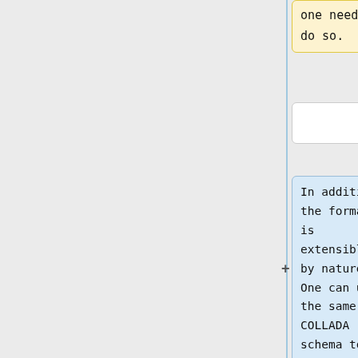one needs to do so.
In addition, the format is extensible by nature. One can use the same COLLADA schema to represent additional information that was not considered by the team when designing